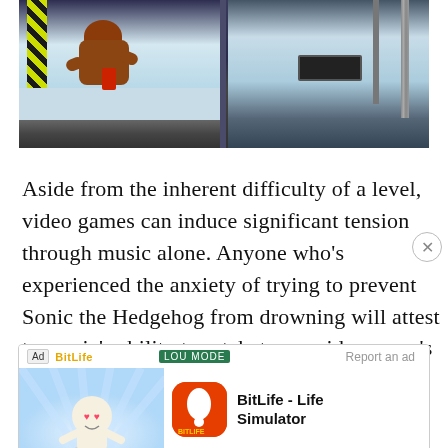[Figure (screenshot): Screenshot of a Donkey Kong Country video game level showing a snowy industrial environment. Donkey Kong character is visible on the left side, with yellow hazard stripes. The background shows icy/snowy terrain and metal structures.]
Aside from the inherent difficulty of a level, video games can induce significant tension through music alone. Anyone who's experienced the anxiety of trying to prevent Sonic the Hedgehog from drowning will attest to music's ability to ratchet up a video game's intensity.  At the same time, music is also remarkably malleable. A song that has garnered...
[Figure (screenshot): Advertisement banner for BitLife - Life Simulator app. Shows 'Ad' label, brand logos for BitLife and LOU MODE, a cartoon character with heart eyes, the BitLife app icon (red with white sperm cell symbol), app name 'BitLife - Life Simulator', 'Report an ad' link, and 'Install!' call-to-action button.]